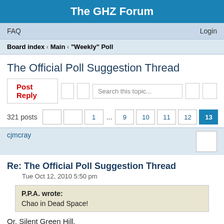The GHZ Forum
FAQ    Login
Board index ‹ Main ‹ "Weekly" Poll
The Official Poll Suggestion Thread
Post Reply    Search this topic...
321 posts   1 ... 9  10  11  12  13
cjmcray
Re: The Official Poll Suggestion Thread
Tue Oct 12, 2010 5:50 pm
P.P.A. wrote:
Chao in Dead Space!
Or, Silent Green Hill.
Jogurt